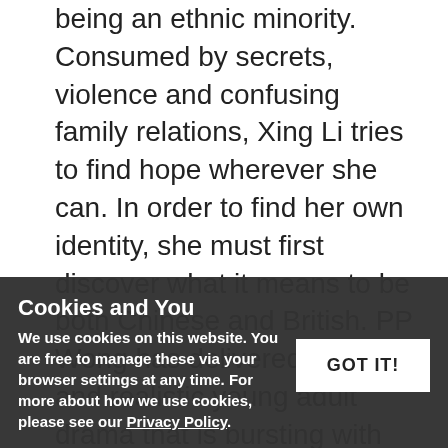being an ethnic minority. Consumed by secrets, violence and confusing family relations, Xing Li tries to find hope wherever she can. In order to find her own identity, she must first discover what it means to be both Chinese and British. PP Wong has delivered a unique and realistic young adult drama that is bursting with original content style and emotion. What Reviewers and Readers Say: 'PP Wong has blazed a trail for future British Chinese novelists ... bursting with original and exciting flavours.' The Independent 'A moving and optimistic debut about orphaned siblings coping with a new strict home and racial bullying.' The Guardian 'Life of a Banana is so refreshingly distinct. Read it, and you will soon find yourself wanting more,'
Cookies and You
We use cookies on this website. You are free to manage these via your browser settings at any time. For more about how we use cookies, please see our Privacy Policy.